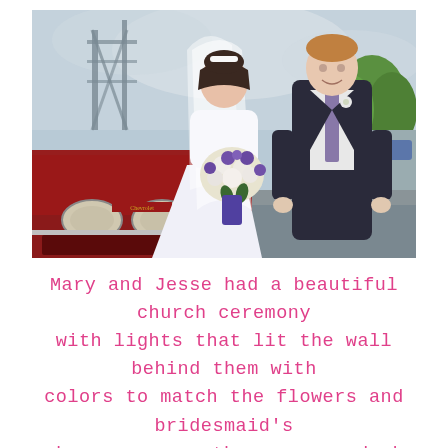[Figure (photo): Wedding couple — bride in white dress and veil holding a purple and white bouquet, groom in dark suit — standing close together in front of a classic red car, with a steel bridge structure and green trees visible in the background.]
Mary and Jesse had a beautiful church ceremony with lights that lit the wall behind them with colors to match the flowers and bridesmaid's dresses. once the ceremony had ended, the wedding party gathered outside the church doors,